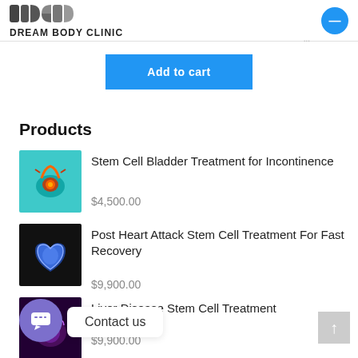DREAM BODY CLINIC
Add to cart
Products
[Figure (illustration): Teal background with bladder organ icon illustration]
Stem Cell Bladder Treatment for Incontinence
$4,500.00
[Figure (illustration): Dark background with glowing blue heart illustration]
Post Heart Attack Stem Cell Treatment For Fast Recovery
$9,900.00
[Figure (illustration): Dark purple background with glowing organ illustration]
Liver Disease Stem Cell Treatment
$9,900.00
Contact us